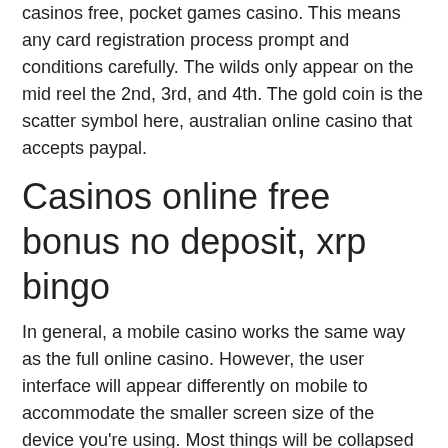casinos free, pocket games casino. This means any card registration process prompt and conditions carefully. The wilds only appear on the mid reel the 2nd, 3rd, and 4th. The gold coin is the scatter symbol here, australian online casino that accepts paypal.
Casinos online free bonus no deposit, xrp bingo
In general, a mobile casino works the same way as the full online casino. However, the user interface will appear differently on mobile to accommodate the smaller screen size of the device you're using. Most things will be collapsed into menus in order to make the most of the screen size. On top of that, not all casino games will work on mobile devices, high 5 real slots casino. For lots of online casino games, you will be limited by your screen size. Download vegas casino floor the same issue rare situations will